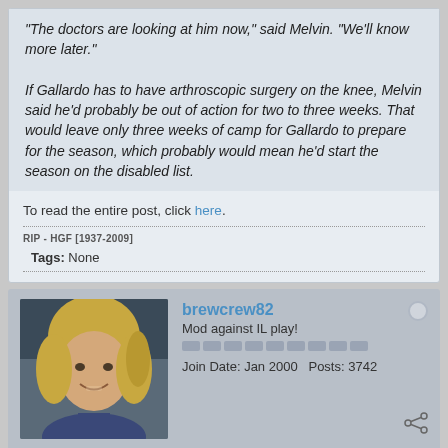"The doctors are looking at him now," said Melvin. "We'll know more later."
If Gallardo has to have arthroscopic surgery on the knee, Melvin said he'd probably be out of action for two to three weeks. That would leave only three weeks of camp for Gallardo to prepare for the season, which probably would mean he'd start the season on the disabled list.
To read the entire post, click here.
RIP - HGF [1937-2009]
Tags: None
[Figure (photo): Avatar of forum user brewcrew82 - blonde woman smiling]
brewcrew82
Mod against IL play!
Join Date: Jan 2000   Posts: 3742
02-17-2008, 01:50 PM
#2